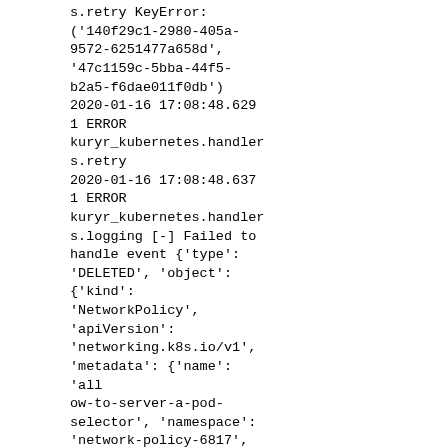s.retry KeyError: ('140f29c1-2980-405a-9572-6251477a658d', '47c1159c-5bba-44f5-b2a5-f6dae011f0db') 2020-01-16 17:08:48.629 1 ERROR kuryr_kubernetes.handlers.retry 2020-01-16 17:08:48.637 1 ERROR kuryr_kubernetes.handlers.logging [-] Failed to handle event {'type': 'DELETED', 'object': {'kind': 'NetworkPolicy', 'apiVersion': 'networking.k8s.io/v1', 'metadata': {'name': 'allow-to-server-a-pod-selector', 'namespace': 'network-policy-6817', 'selfLink': '/apis/networking.k8s.io/v1/namespaces/network-policy-6817/networkpolicies/allow-to-server-a-pod-selector', 'uid':